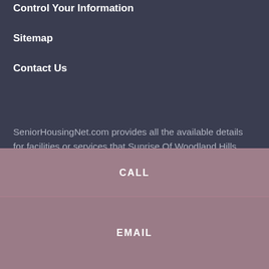Control Your Information
Sitemap
Contact Us
SeniorHousingNet.com provides all the available details for facilities or services that Sunrise Of Woodland Hills provides at 20461 Ventura Blvd, Woodland Hills, CA, 98116. Sunrise Of Woodland Hills provides an Assisted Living; Alzheimer's Care for seniors in Woodland Hills, CA. We invite you to contact Sunrise Of Woodland Hills for specific questions. However, for a quick overview, explore the above community details like amenities and room features to get a sense of what services and activities are available. After you browse the
CALL
EMAIL